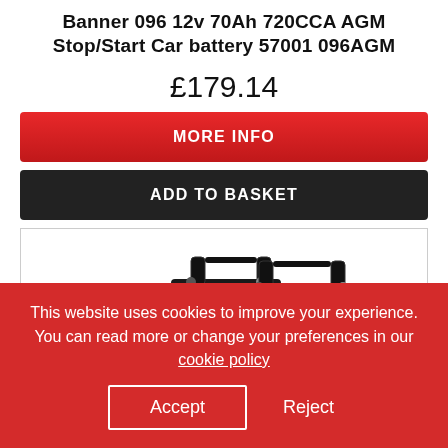Banner 096 12v 70Ah 720CCA AGM Stop/Start Car battery 57001 096AGM
£179.14
MORE INFO
ADD TO BASKET
[Figure (photo): Product photo of Banner AGM Stop/Start car batteries, two black batteries with red labels and carrying handles]
This website uses cookies to improve your experience. You can read more or change your preferences in our cookie policy
Accept
Reject